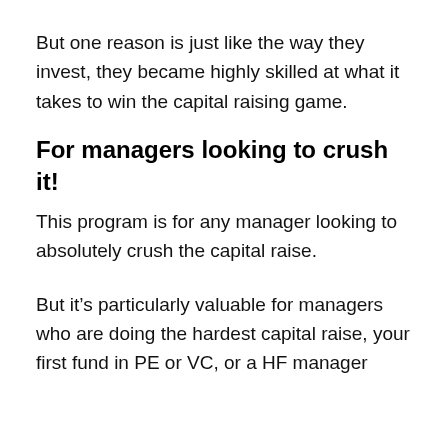But one reason is just like the way they invest, they became highly skilled at what it takes to win the capital raising game.
For managers looking to crush it!
This program is for any manager looking to absolutely crush the capital raise.
But it's particularly valuable for managers who are doing the hardest capital raise, your first fund in PE or VC, or a HF manager